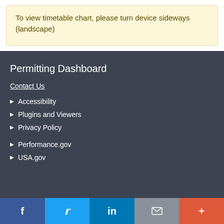To view timetable chart, please turn device sideways (landscape)
Permitting Dashboard
Contact Us
Accessibility
Plugins and Viewers
Privacy Policy
Performance.gov
USA.gov
f  [Twitter]  in  [Email]  +